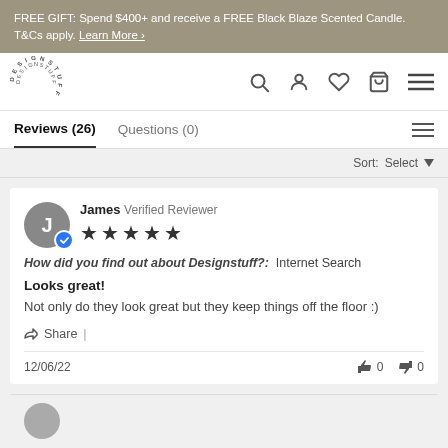FREE GIFT: Spend $400+ and receive a FREE Black Blaze Scented Candle. T&Cs apply. Learn More >
[Figure (logo): DesignStuff circular text logo]
Reviews (26)   Questions (0)
Sort: Select
James  Verified Reviewer  ★★★★★
How did you find out about Designstuff?:  Internet Search
Looks great!
Not only do they look great but they keep things off the floor :)
Share  |
12/06/22   👍 0   👎 0